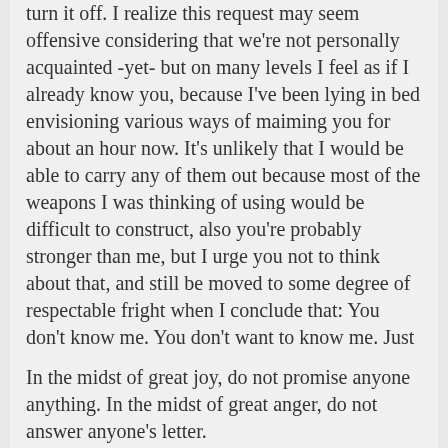turn it off. I realize this request may seem offensive considering that we're not personally acquainted -yet- but on many levels I feel as if I already know you, because I've been lying in bed envisioning various ways of maiming you for about an hour now. It's unlikely that I would be able to carry any of them out because most of the weapons I was thinking of using would be difficult to construct, also you're probably stronger than me, but I urge you not to think about that, and still be moved to some degree of respectable fright when I conclude that: You don't know me. You don't want to know me. Just turn it off. Jessi
permalink source: Sent to the Mirilees dorm email list late one night
tags: Patience, Anger, Sleep
In the midst of great joy, do not promise anyone anything. In the midst of great anger, do not answer anyone's letter.